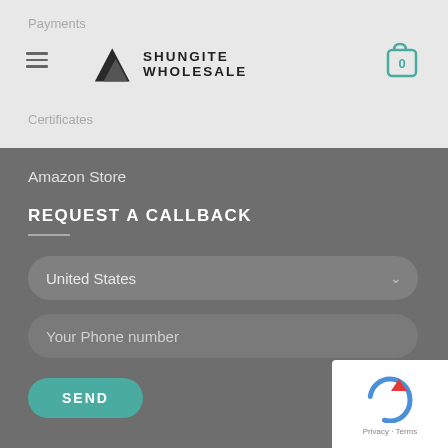Payments
[Figure (logo): Shungite Wholesale logo with mountain/pyramid icon and text SHUNGITE WHOLESALE]
[Figure (illustration): Shopping cart icon with number 0]
Certificates
Amazon Store
REQUEST A CALLBACK
United States
Your Phone number
SEND
[Figure (illustration): reCAPTCHA widget with circular arrow icon, Privacy and Terms links]